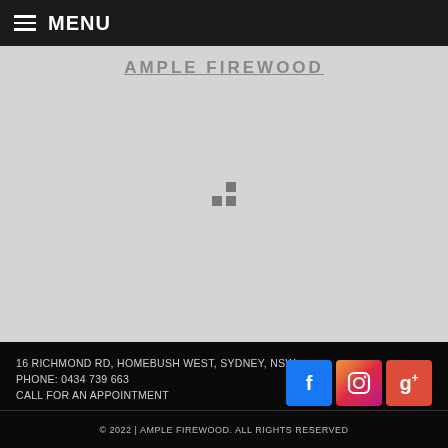MENU
[Figure (screenshot): Gray loading area with partially visible text 'AMPLE FIREWOOD' at top and a loading spinner (four dots) in center]
16 RICHMOND RD, HOMEBUSH WEST, SYDNEY, NSW
PHONE: 0434 739 663
CALL FOR AN APPOINTMENT
[Figure (logo): Social media icons: Facebook (f), Instagram (camera), Google+ (g+)]
© 2022 | AMPLE FIREWOOD. ALL RIGHTS RESERVED